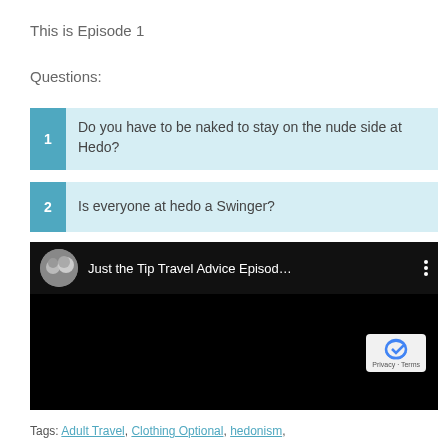This is Episode 1
Questions:
1 Do you have to be naked to stay on the nude side at Hedo?
2 Is everyone at hedo a Swinger?
[Figure (screenshot): Embedded YouTube video showing 'Just the Tip Travel Advice Episod...' with a circular couple avatar and three-dot menu icon on a black background]
Tags: Adult Travel, Clothing Optional, hedonism,